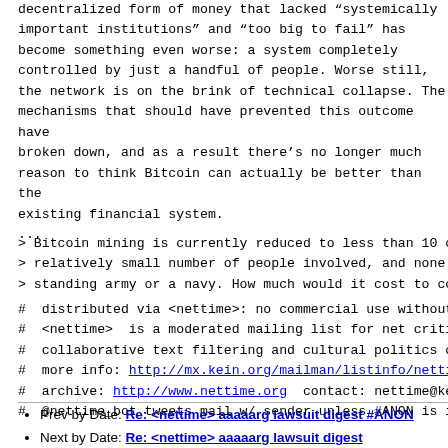decentralized form of money that lacked "systemically important institutions" and "too big to fail" has become something even worse: a system completely controlled by just a handful of people. Worse still, the network is on the brink of technical collapse. The mechanisms that should have prevented this outcome have broken down, and as a result there's no longer much reason to think Bitcoin can actually be better than the existing financial system.
...
> Bitcoin mining is currently reduced to less than 10 ope
> relatively small number of people involved, and none of
> standing army or a navy. How much would it cost to coer
#  distributed via <nettime>: no commercial use without p
#  <nettime>  is a moderated mailing list for net critici
#  collaborative text filtering and cultural politics of
#  more info: http://mx.kein.org/mailman/listinfo/nettime
#  archive: http://www.nettime.org  contact: nettime@kein
#  @nettime_bot tweets mail w/ sender unless #ANON is in
Prev by Date: Re: <nettime> aaaaarg lawsuit digest #ANON
Next by Date: Re: <nettime> aaaaarg lawsuit digest